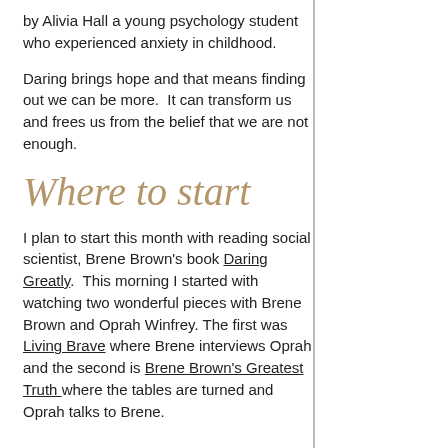by Alivia Hall a young psychology student who experienced anxiety in childhood.
Daring brings hope and that means finding out we can be more.  It can transform us and frees us from the belief that we are not enough.
Where to start
I plan to start this month with reading social scientist, Brene Brown's book Daring Greatly.  This morning I started with watching two wonderful pieces with Brene Brown and Oprah Winfrey.  The first was Living Brave where Brene interviews Oprah and the second is Brene Brown's Greatest Truth where the tables are turned and Oprah talks to Brene.